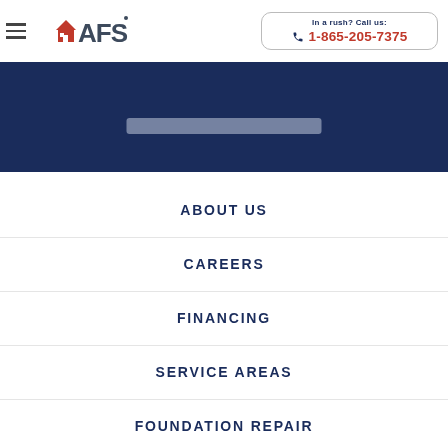AFS — In a rush? Call us: 1-865-205-7375
ABOUT US
CAREERS
FINANCING
SERVICE AREAS
FOUNDATION REPAIR